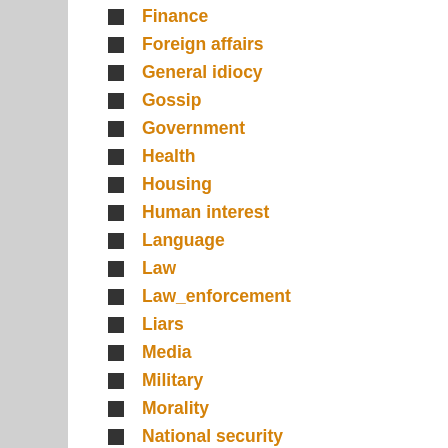Finance
Foreign affairs
General idiocy
Gossip
Government
Health
Housing
Human interest
Language
Law
Law_enforcement
Liars
Media
Military
Morality
National security
News from the Bitecastle
Person of the Year
Philosophy
Politics
Privacy
Public relations